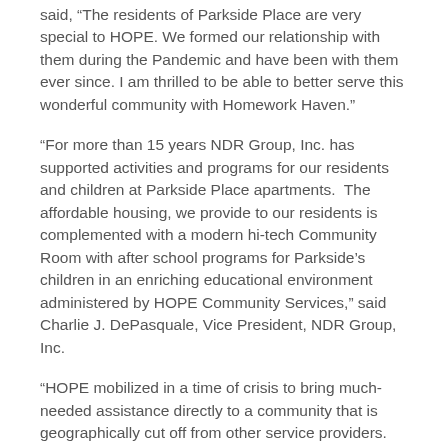said, “The residents of Parkside Place are very special to HOPE. We formed our relationship with them during the Pandemic and have been with them ever since. I am thrilled to be able to better serve this wonderful community with Homework Haven.”
“For more than 15 years NDR Group, Inc. has supported activities and programs for our residents and children at Parkside Place apartments.  The affordable housing, we provide to our residents is complemented with a modern hi-tech Community Room with after school programs for Parkside’s children in an enriching educational environment administered by HOPE Community Services,” said Charlie J. DePasquale, Vice President, NDR Group, Inc.
“HOPE mobilized in a time of crisis to bring much-needed assistance directly to a community that is geographically cut off from other service providers. HOPE has become a valuable community resource for Parkside residents and I am thrilled to see HOPE expand their efforts to include afterschool programming,” said New Rochelle Deputy Mayor Sara Kaye. “I am grateful for the welcoming community